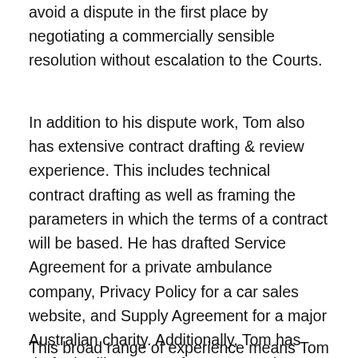avoid a dispute in the first place by negotiating a commercially sensible resolution without escalation to the Courts.
In addition to his dispute work, Tom also has extensive contract drafting & review experience. This includes technical contract drafting as well as framing the parameters in which the terms of a contract will be based. He has drafted Service Agreement for a private ambulance company, Privacy Policy for a car sales website, and Supply Agreement for a major Australian charity. Additionally, Tom has drafted Wills, Power of Attorney and Enduring Guardianship documentation.
This broad range of experience means Tom does